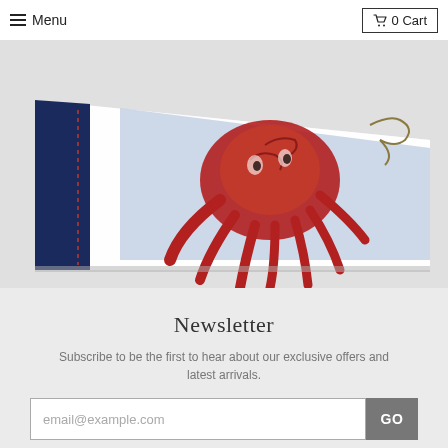Menu   0 Cart
[Figure (photo): Close-up photo of a book or notebook with an illustrated red octopus on a white cover, navy blue leather strap/bookmark visible on the left, light blue background on the illustration, placed on a light gray surface.]
Newsletter
Subscribe to be the first to hear about our exclusive offers and latest arrivals.